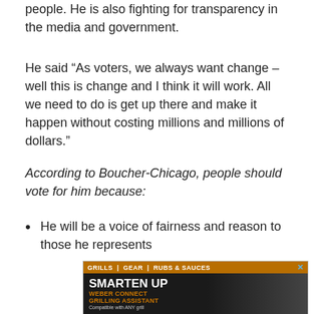people. He is also fighting for transparency in the media and government.
He said “As voters, we always want change – well this is change and I think it will work. All we need to do is get up there and make it happen without costing millions and millions of dollars.”
According to Boucher-Chicago, people should vote for him because:
He will be a voice of fairness and reason to those he represents
[Figure (advertisement): Weber Connect Grilling Assistant advertisement with orange and black background. Top bar reads: GRILLS | GEAR | RUBS & SAUCES with a close button. Main text: SMARTEN UP, WEBER CONNECT GRILLING ASSISTANT, Compatible with ANY grill]